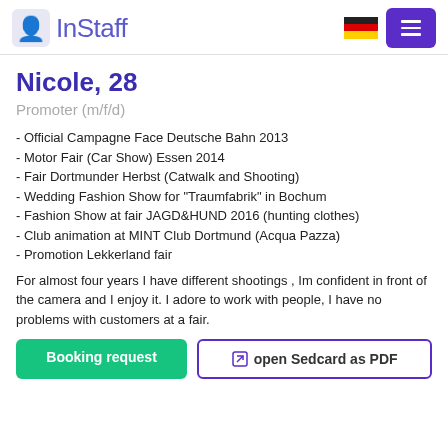InStaff
Nicole, 28
Promoter (m/f/d)
- Official Campagne Face Deutsche Bahn 2013
- Motor Fair (Car Show) Essen 2014
- Fair Dortmunder Herbst (Catwalk and Shooting)
- Wedding Fashion Show for "Traumfabrik" in Bochum
- Fashion Show at fair JAGD&HUND 2016 (hunting clothes)
- Club animation at MINT Club Dortmund (Acqua Pazza)
- Promotion Lekkerland fair
For almost four years I have different shootings , Im confident in front of the camera and I enjoy it. I adore to work with people, I have no problems with customers at a fair.